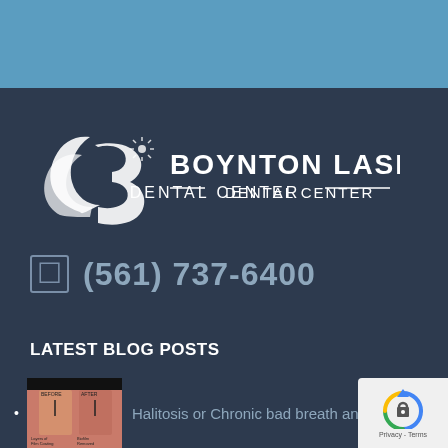[Figure (logo): Blue header bar at top of page]
[Figure (logo): Boynton Laser Dental Center logo with stylized B icon and dental imagery in white on dark navy background]
(561) 737-6400
LATEST BLOG POSTS
Halitosis or Chronic bad breath and how
[Figure (photo): Thumbnail image showing before/after dental comparison with pink gum tissue and labels 'BEFORE' and 'AFTER' with arrows showing 'Layers of Film Coating' and 'Biofilm Removed']
[Figure (other): reCAPTCHA badge in bottom right corner showing reCAPTCHA logo with Privacy and Terms text]